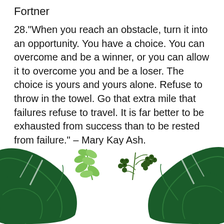Fortner
28."When you reach an obstacle, turn it into an opportunity. You have a choice. You can overcome and be a winner, or you can allow it to overcome you and be a loser. The choice is yours and yours alone. Refuse to throw in the towel. Go that extra mile that failures refuse to travel. It is far better to be exhausted from success than to be rested from failure." – Mary Kay Ash.
[Figure (illustration): Decorative botanical illustration with dark green tropical leaves in corners and light green leafy sprigs and dark berry branch in the center on white background]